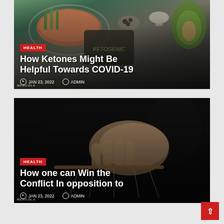[Figure (photo): Keto food photo with salmon, vegetables, avocado, mushrooms on dark background. Article card with HEALTH badge, title, and metadata.]
How Ketones Might Be Helpful Towards COVID-19
JAN 23, 2022   ADMIN
[Figure (photo): Dark photo of a hand holding puppet strings/marionette control bar. Article card with HEALTH badge, title, and metadata.]
How one can Win the Conflict In opposition to
JAN 23, 2022   ADMIN